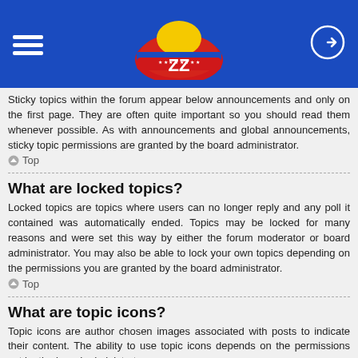[Figure (logo): Blue header bar with hamburger menu icon on left, Venezuelan flag-colored cloud logo with 'ZZ' text in center, and login icon on right]
Sticky topics within the forum appear below announcements and only on the first page. They are often quite important so you should read them whenever possible. As with announcements and global announcements, sticky topic permissions are granted by the board administrator.
Top
What are locked topics?
Locked topics are topics where users can no longer reply and any poll it contained was automatically ended. Topics may be locked for many reasons and were set this way by either the forum moderator or board administrator. You may also be able to lock your own topics depending on the permissions you are granted by the board administrator.
Top
What are topic icons?
Topic icons are author chosen images associated with posts to indicate their content. The ability to use topic icons depends on the permissions set by the board administrator.